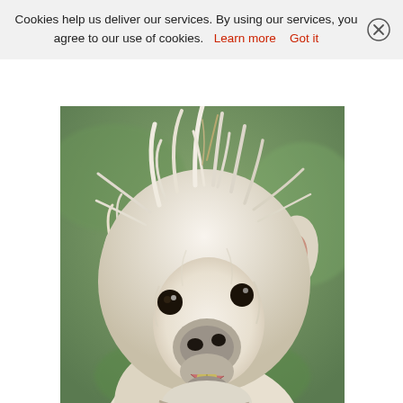Cookies help us deliver our services. By using our services, you agree to our use of cookies. Learn more   Got it
[Figure (photo): Close-up photo of a white fluffy alpaca with messy hair, black eyes, pink ear, and open mouth showing teeth, against a green blurred background.]